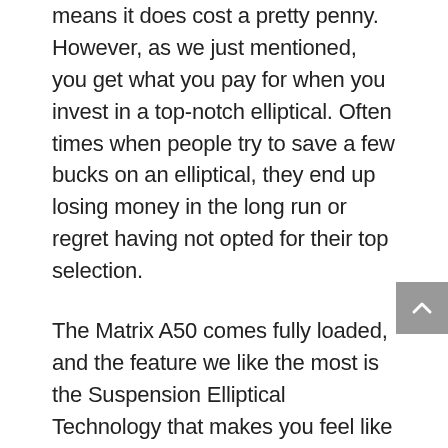means it does cost a pretty penny. However, as we just mentioned, you get what you pay for when you invest in a top-notch elliptical. Often times when people try to save a few bucks on an elliptical, they end up losing money in the long run or regret having not opted for their top selection.
The Matrix A50 comes fully loaded, and the feature we like the most is the Suspension Elliptical Technology that makes you feel like you're running on air. This machine is an excellent selection for arthritis sufferers or people who have previously suffered injuries and want to avoid stress on their joints while burning calories.
Despite its smoothness, this machine also challenges the most avid fitness buffs with its